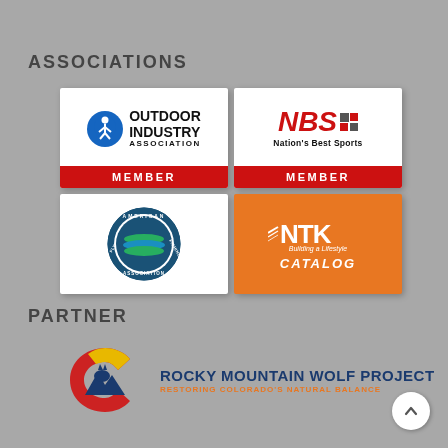ASSOCIATIONS
[Figure (logo): Outdoor Industry Association MEMBER badge — circular OIA logo with figure icon on blue, text 'OUTDOOR INDUSTRY ASSOCIATION' and red banner 'MEMBER']
[Figure (logo): NBS Nation's Best Sports MEMBER badge — red NBS lettering with logo mark, text 'Nation's Best Sports' and red banner 'MEMBER']
[Figure (logo): American Fly Fishing Association circular logo — blue circle with green/blue wave stripes and text around border]
[Figure (logo): NTK Building a Lifestyle CATALOG badge — orange background with white NTK logo, text 'Building a Lifestyle' and 'CATALOG']
PARTNER
[Figure (logo): Rocky Mountain Wolf Project logo — Colorado C shape with wolf silhouette on mountain, text 'ROCKY MOUNTAIN WOLF PROJECT' in navy and 'RESTORING COLORADO'S NATURAL BALANCE' in orange]